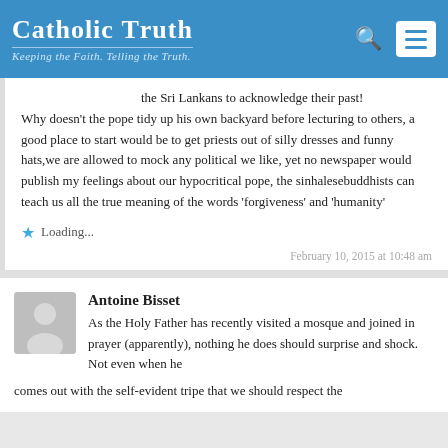Catholic Truth — Keeping the Faith. Telling the Truth.
the Sri Lankans to acknowledge their past! Why doesn't the pope tidy up his own backyard before lecturing to others, a good place to start would be to get priests out of silly dresses and funny hats,we are allowed to mock any political we like, yet no newspaper would publish my feelings about our hypocritical pope, the sinhalesebuddhists can teach us all the true meaning of the words 'forgiveness' and 'humanity'
Loading...
February 10, 2015 at 10:48 am
Antoine Bisset
As the Holy Father has recently visited a mosque and joined in prayer (apparently), nothing he does should surprise and shock. Not even when he comes out with the self-evident tripe that we should respect the